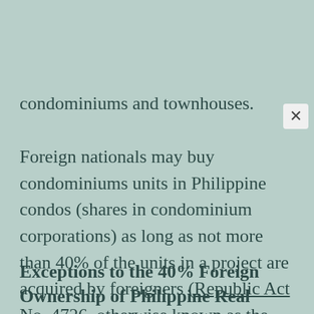condominiums and townhouses.
Foreign nationals may buy condominiums units in Philippine condos (shares in condominium corporations) as long as not more than 40% of the units in a project are acquired by foreigners (Republic Act No. 4726, otherwise known as the Condominium Act).
Exceptions to the 40% Foreign Ownership of Philippine Real Property